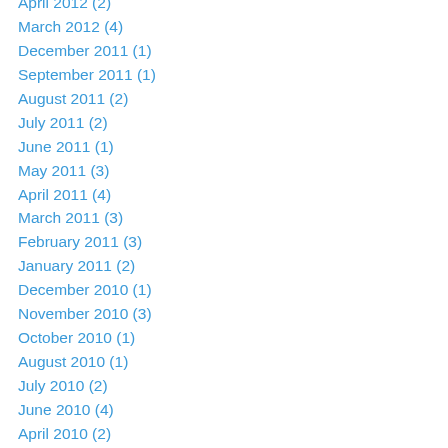April 2012 (2)
March 2012 (4)
December 2011 (1)
September 2011 (1)
August 2011 (2)
July 2011 (2)
June 2011 (1)
May 2011 (3)
April 2011 (4)
March 2011 (3)
February 2011 (3)
January 2011 (2)
December 2010 (1)
November 2010 (3)
October 2010 (1)
August 2010 (1)
July 2010 (2)
June 2010 (4)
April 2010 (2)